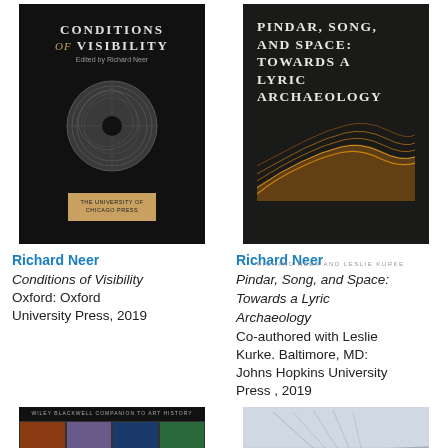[Figure (photo): Book cover of 'Conditions of Visibility' edited by Richard Neer, black background with circular disc motif, published by Oxford University Press]
[Figure (photo): Book cover of 'Pindar, Song, and Space: Towards a Lyric Archaeology' by Richard Neer and Leslie Kurke, dark background with golden terrain/topography image]
Richard Neer
Conditions of Visibility
Oxford: Oxford University Press, 2019
Richard Neer
Pindar, Song, and Space: Towards a Lyric Archaeology
Co-authored with Leslie Kurke. Baltimore, MD: Johns Hopkins University Press , 2019
[Figure (photo): Book cover of a Blackwell Companion to Art History, dark background with mosaic of art images]
[Figure (photo): Photograph of a bridge or architectural structure in foggy/misty conditions]